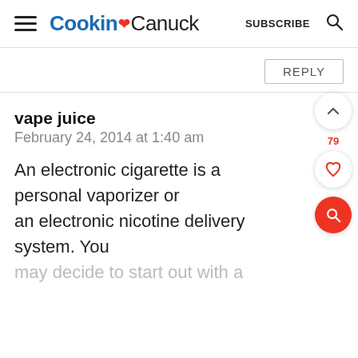Cookin Canuck  SUBSCRIBE
REPLY
vape juice
February 24, 2014 at 1:40 am

An electronic cigarette is a personal vaporizer or an electronic nicotine delivery system. You may decide to start out with a